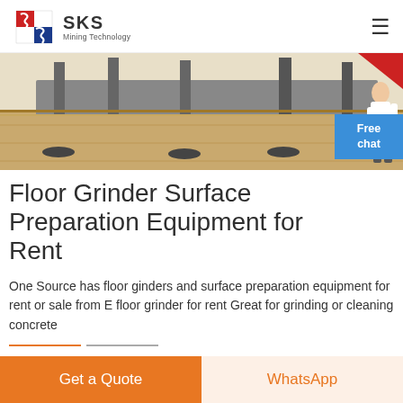SKS Mining Technology
[Figure (photo): Floor grinder equipment on a wooden floor surface, with metal support structures visible. A person (woman in white) stands at the right edge.]
Floor Grinder Surface Preparation Equipment for Rent
One Source has floor ginders and surface preparation equipment for rent or sale from E floor grinder for rent Great for grinding or cleaning concrete